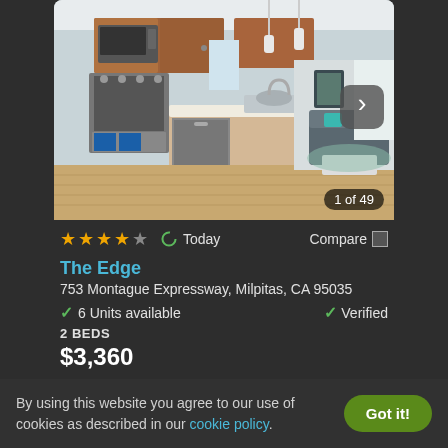[Figure (photo): Interior photo of a modern apartment kitchen and living area with wood cabinets, stainless steel appliances, kitchen island, and open living room with teal accents. Image counter shows 1 of 49.]
★★★★☆  Today  Compare
The Edge
753 Montague Expressway, Milpitas, CA 95035
✓ 6 Units available    ✓ Verified
2 BEDS
$3,360
By using this website you agree to our use of cookies as described in our cookie policy.